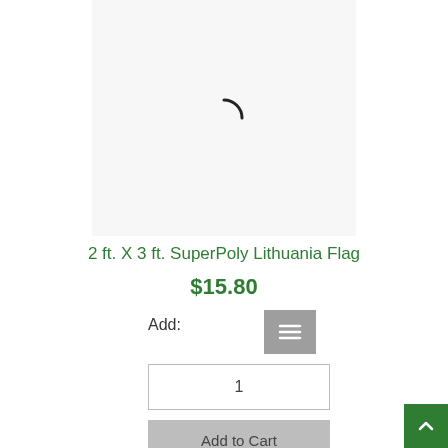[Figure (other): Product image placeholder with loading spinner arc on light gray background]
2 ft. X 3 ft. SuperPoly Lithuania Flag
$15.80
Add:
[Figure (other): List/menu icon button (gray background with three horizontal lines)]
1
Add to Cart